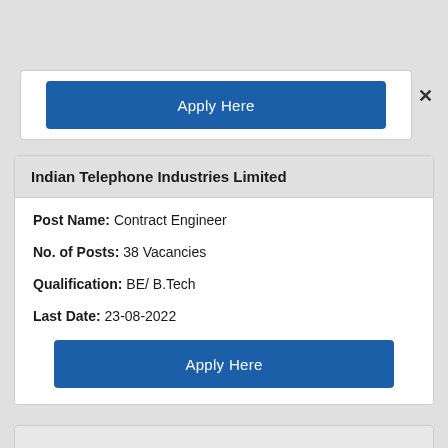[Figure (screenshot): Apply Here blue button in a white card, partially visible at top of page]
×
Indian Telephone Industries Limited
Post Name: Contract Engineer
No. of Posts: 38 Vacancies
Qualification: BE/ B.Tech
Last Date: 23-08-2022
[Figure (screenshot): Apply Here blue button]